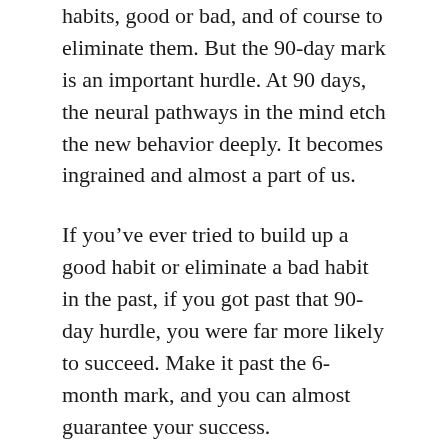habits, good or bad, and of course to eliminate them. But the 90-day mark is an important hurdle. At 90 days, the neural pathways in the mind etch the new behavior deeply. It becomes ingrained and almost a part of us.
If you've ever tried to build up a good habit or eliminate a bad habit in the past, if you got past that 90-day hurdle, you were far more likely to succeed. Make it past the 6-month mark, and you can almost guarantee your success.
So, stay committed, be resilient, and never give up no matter how long it takes you. There will be upsets, there will be setbacks, and there will be distractions along the way. But as long as you don't lose sight of